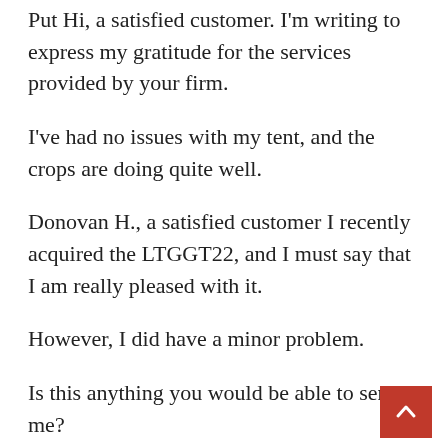Put Hi, a satisfied customer. I'm writing to express my gratitude for the services provided by your firm.
I've had no issues with my tent, and the crops are doing quite well.
Donovan H., a satisfied customer I recently acquired the LTGGT22, and I must say that I am really pleased with it.
However, I did have a minor problem.
Is this anything you would be able to send me?
Aside from that, I was so happy with the tent when compared to the GL60 that I wrote an extensive review on Amazon.